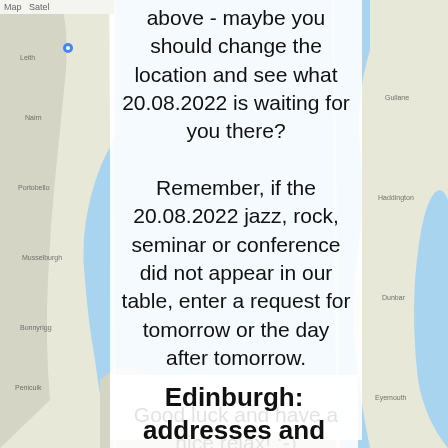[Figure (map): Google Maps screenshot showing coastal area including Edinburgh region, with blue sea areas and land in light colors with road networks visible]
above - maybe you should change the location and see what 20.08.2022 is waiting for you there?

Remember, if the 20.08.2022 jazz, rock, seminar or conference did not appear in our table, enter a request for tomorrow or the day after tomorrow.

Good luck and have a nice relax! :-)
Edinburgh: addresses and